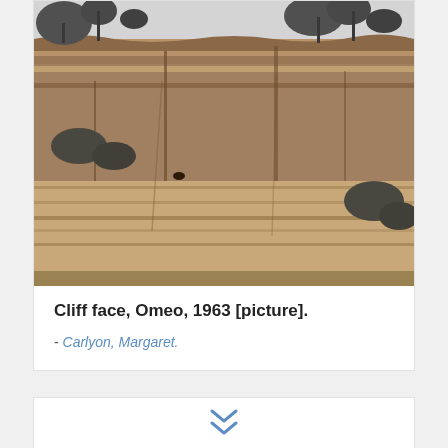[Figure (photo): Black and white photograph of a tall cliff face at Omeo, 1963. The cliff shows layered sedimentary rock with exposed striations. Trees and shrubs are visible at the top and sides of the cliff.]
Cliff face, Omeo, 1963 [picture].
- Carlyon, Margaret.